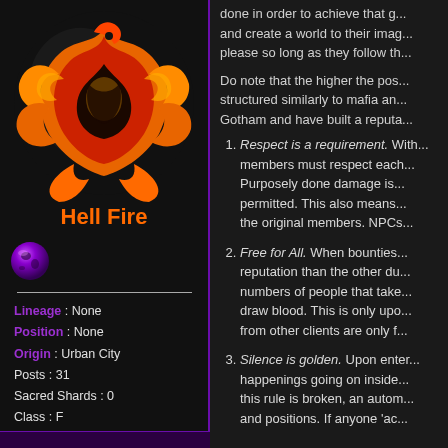[Figure (logo): Phoenix/Hell Fire guild logo — orange and red stylized phoenix bird on black background]
Hell Fire
[Figure (illustration): Small purple globe/sphere icon]
| Lineage | None |
| Position | None |
| Origin | Urban City |
| Posts | 31 |
| Sacred Shards | 0 |
| Class | F |
| Level | 1 |
| Experience | 0 |
done in order to achieve that g... and create a world to their imag... please so long as they follow th...
Do note that the higher the pos... structured similarly to mafia an... Gotham and have built a reputa...
Respect is a requirement. With... members must respect each... Purposely done damage is... permitted. This also means... the original members. NPCs...
Free for All. When bounties... reputation than the other du... numbers of people that take... draw blood. This is only upo... from other clients are only f...
Silence is golden. Upon enter... happenings going on inside... this rule is broken, an autom... and positions. If anyone 'ac...